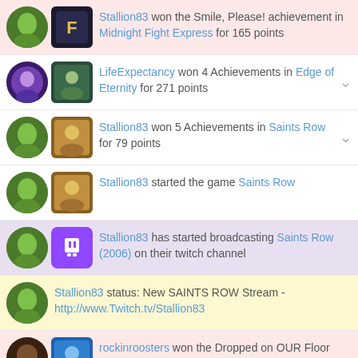Stallion83 won the Smile, Please! achievement in Midnight Fight Express for 165 points
LifeExpectancy won 4 Achievements in Edge of Eternity for 271 points
Stallion83 won 5 Achievements in Saints Row for 79 points
Stallion83 started the game Saints Row
Stallion83 has started broadcasting Saints Row (2006) on their twitch channel
Stallion83 status: New SAINTS ROW Stream - http://www.Twitch.tv/Stallion83
rockinroosters won the Dropped on OUR Floor achievement in Two Point Campus for 18 points
alanp9 won the More Speed! achievement in Kinduo for 53 points in Alphabet Challenge (letter M)